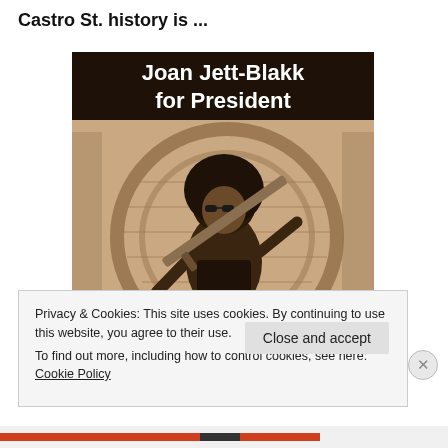Castro St. history is ...
[Figure (photo): Sepia-toned campaign poster image showing a person seated in a wicker peacock chair holding what appears to be a rifle/toy gun, wearing sunglasses and a black t-shirt, with large text header reading 'Joan Jett-Blakk for President']
Privacy & Cookies: This site uses cookies. By continuing to use this website, you agree to their use.
To find out more, including how to control cookies, see here: Cookie Policy